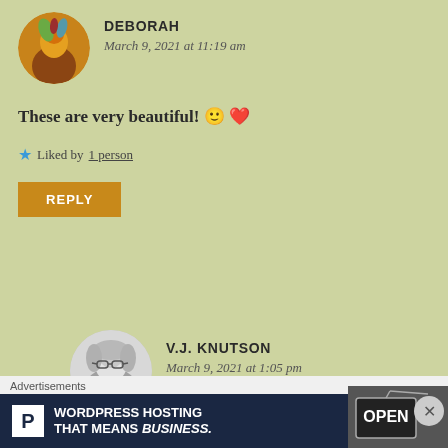[Figure (photo): Round avatar of Deborah showing a colorful illustrated figure]
DEBORAH
March 9, 2021 at 11:19 am
These are very beautiful! 🙂 ❤️
★ Liked by 1 person
REPLY
[Figure (photo): Round black-and-white avatar photo of V.J. Knutson, a woman with glasses]
V.J. KNUTSON
March 9, 2021 at 1:05 pm
Thanks Deborah!
Advertisements
WORDPRESS HOSTING THAT MEANS BUSINESS.